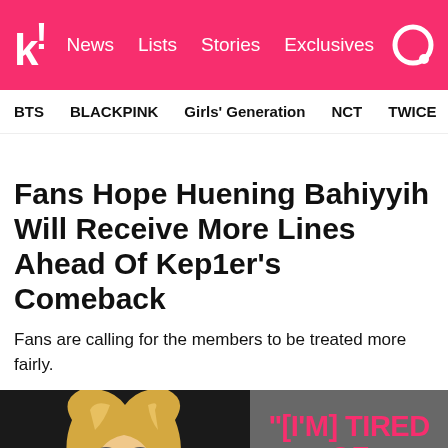k! News  Lists  Stories  Exclusives
BTS  BLACKPINK  Girls' Generation  NCT  TWICE  aespa
Fans Hope Huening Bahiyyih Will Receive More Lines Ahead Of Kep1er's Comeback
Fans are calling for the members to be treated more fairly.
[Figure (photo): Blonde woman (Huening Bahiyyih) with a dark background on the left, and a pink quote text on gray background on the right reading: "[I'M] TIRED OF WAKEONE"]